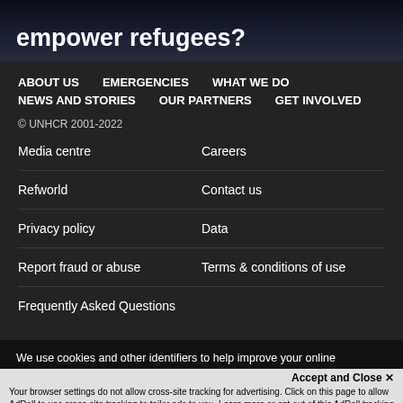empower refugees?
ABOUT US
EMERGENCIES
WHAT WE DO
NEWS AND STORIES
OUR PARTNERS
GET INVOLVED
© UNHCR 2001-2022
Media centre
Careers
Refworld
Contact us
Privacy policy
Data
Report fraud or abuse
Terms & conditions of use
Frequently Asked Questions
We use cookies and other identifiers to help improve your online experience. By using our website you are agreeing to this. Read our privacy policy to find out what cookies are used for and how to change your settings.
Accept and Close ✕
Your browser settings do not allow cross-site tracking for advertising. Click on this page to allow AdRoll to use cross-site tracking to tailor ads to you. Learn more or opt out of this AdRoll tracking by clicking here. This message only appears once.